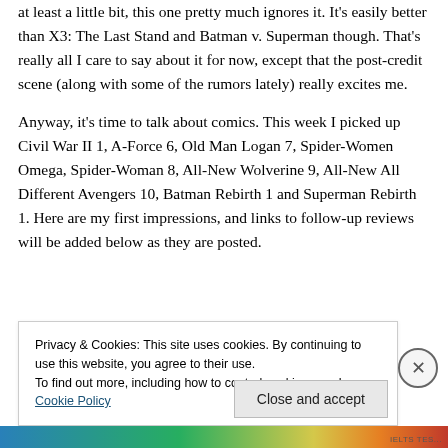at least a little bit, this one pretty much ignores it. It's easily better than X3: The Last Stand and Batman v. Superman though. That's really all I care to say about it for now, except that the post-credit scene (along with some of the rumors lately) really excites me.
Anyway, it's time to talk about comics. This week I picked up Civil War II 1, A-Force 6, Old Man Logan 7, Spider-Women Omega, Spider-Woman 8, All-New Wolverine 9, All-New All Different Avengers 10, Batman Rebirth 1 and Superman Rebirth 1. Here are my first impressions, and links to follow-up reviews will be added below as they are posted.
Privacy & Cookies: This site uses cookies. By continuing to use this website, you agree to their use.
To find out more, including how to control cookies, see here: Cookie Policy